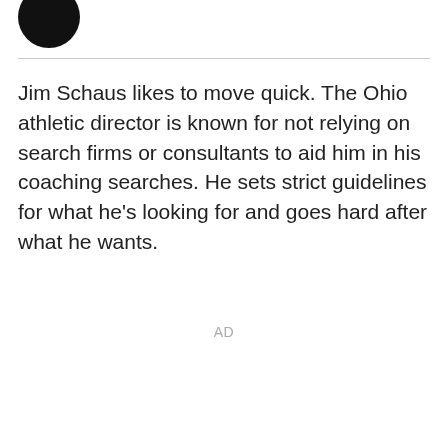[Figure (illustration): Partial black circle avatar image at top left]
Jim Schaus likes to move quick. The Ohio athletic director is known for not relying on search firms or consultants to aid him in his coaching searches. He sets strict guidelines for what he's looking for and goes hard after what he wants.
AD